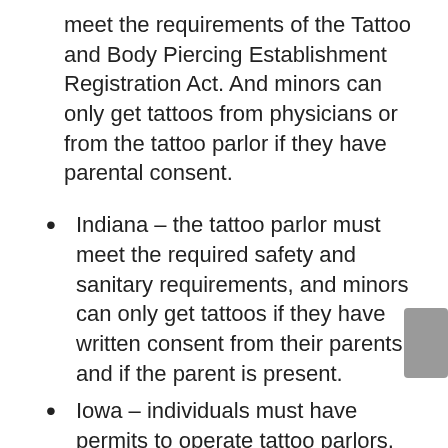(continuation) meet the requirements of the Tattoo and Body Piercing Establishment Registration Act. And minors can only get tattoos from physicians or from the tattoo parlor if they have parental consent.
Indiana – the tattoo parlor must meet the required safety and sanitary requirements, and minors can only get tattoos if they have written consent from their parents and if the parent is present.
Iowa – individuals must have permits to operate tattoo parlors, and minors cannot get tattoos unless they are married.
Kansas – the state requires all tattoo artists to be licensed. Minors must have a written consent to receive tattoos, and the written consent has to be kept for up to 5 years.
Kentucky – To be a tattoo artist you have